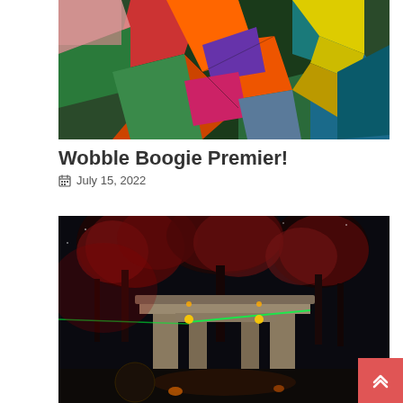[Figure (illustration): Abstract colorful cubist-style painting with geometric shapes in green, orange, red, yellow, purple and teal, featuring stylized bird-like forms]
Wobble Boogie Premier!
July 15, 2022
[Figure (photo): Nighttime outdoor photo showing a stone gateway or torii-like structure lit with red and green lights, surrounded by trees with red-lit foliage against a dark sky]